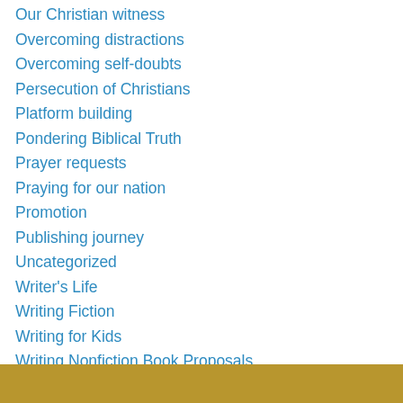Our Christian witness
Overcoming distractions
Overcoming self-doubts
Persecution of Christians
Platform building
Pondering Biblical Truth
Prayer requests
Praying for our nation
Promotion
Publishing journey
Uncategorized
Writer's Life
Writing Fiction
Writing for Kids
Writing Nonfiction Book Proposals
Writing Nonfiction Books
Writing Opportunities